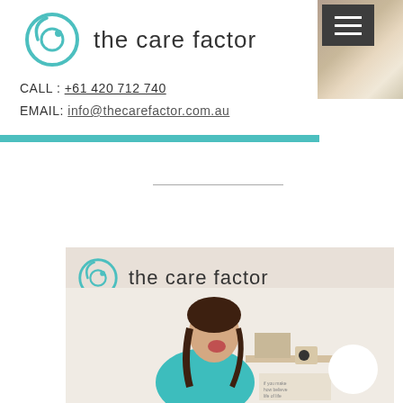[Figure (logo): The Care Factor logo with teal circular icon and text 'the care factor']
[Figure (photo): Navigation menu button (hamburger icon) over a dark photo background, top right]
CALL : +61 420 712 740
EMAIL: info@thecarefactor.com.au
[Figure (other): Teal horizontal bar divider]
[Figure (photo): Video thumbnail showing woman laughing in teal top with 'the care factor' logo overlay and play button]